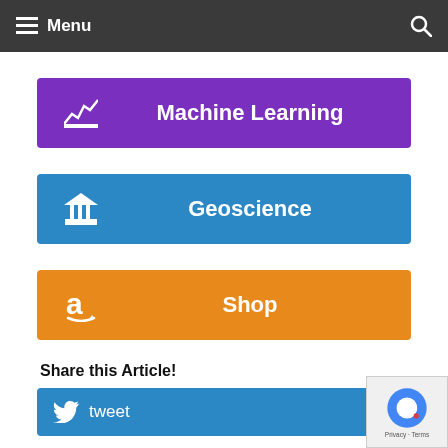Menu
Machine Learning
Geoscience
Shop
Share this Article!
tweet